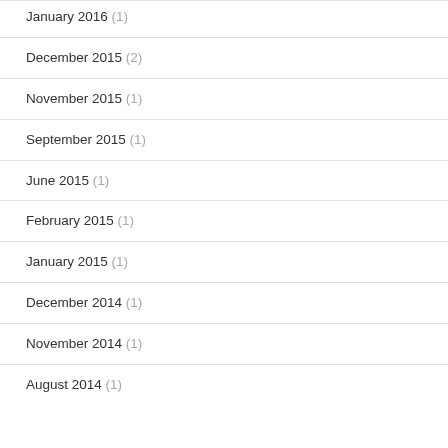January 2016 (1)
December 2015 (2)
November 2015 (1)
September 2015 (1)
June 2015 (1)
February 2015 (1)
January 2015 (1)
December 2014 (1)
November 2014 (1)
August 2014 (1)